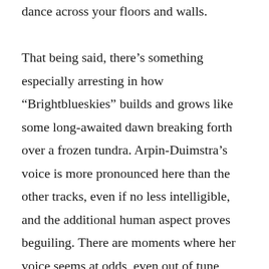dance across your floors and walls.

That being said, there’s something especially arresting in how “Brightblueskies” builds and grows like some long-awaited dawn breaking forth over a frozen tundra. Arpin-Duimstra’s voice is more pronounced here than the other tracks, even if no less intelligible, and the additional human aspect proves beguiling. There are moments where her voice seems at odds, even out of tune, with the drones that surround her. It proves a little unnerving, but at the same time, ultimately transfixing. “The Way Of The Sea